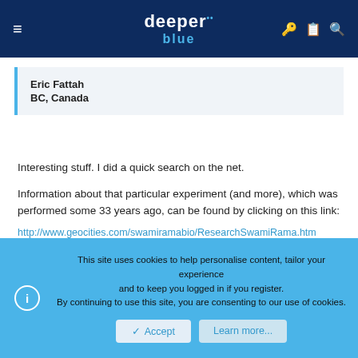deeper blue — navigation header
Eric Fattah
BC, Canada
Interesting stuff. I did a quick search on the net.
Information about that particular experiment (and more), which was performed some 33 years ago, can be found by clicking on this link:
http://www.geocities.com/swamiramabio/ResearchSwamiRama.htm
Some of the things he did are on par with landing on the moon.
This site uses cookies to help personalise content, tailor your experience and to keep you logged in if you register.
By continuing to use this site, you are consenting to our use of cookies.